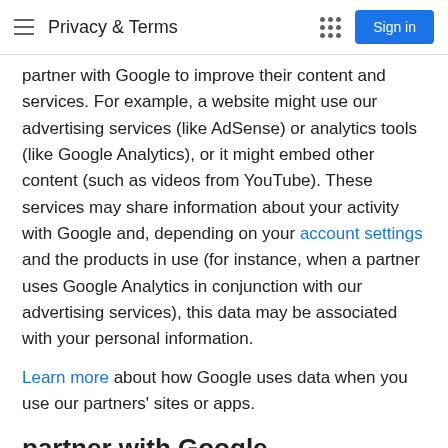Privacy & Terms
partner with Google to improve their content and services. For example, a website might use our advertising services (like AdSense) or analytics tools (like Google Analytics), or it might embed other content (such as videos from YouTube). These services may share information about your activity with Google and, depending on your account settings and the products in use (for instance, when a partner uses Google Analytics in conjunction with our advertising services), this data may be associated with your personal information.
Learn more about how Google uses data when you use our partners' sites or apps.
partner with Google